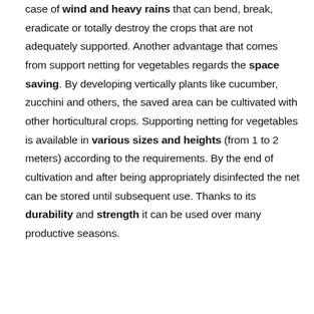case of wind and heavy rains that can bend, break, eradicate or totally destroy the crops that are not adequately supported. Another advantage that comes from support netting for vegetables regards the space saving. By developing vertically plants like cucumber, zucchini and others, the saved area can be cultivated with other horticultural crops. Supporting netting for vegetables is available in various sizes and heights (from 1 to 2 meters) according to the requirements. By the end of cultivation and after being appropriately disinfected the net can be stored until subsequent use. Thanks to its durability and strength it can be used over many productive seasons.